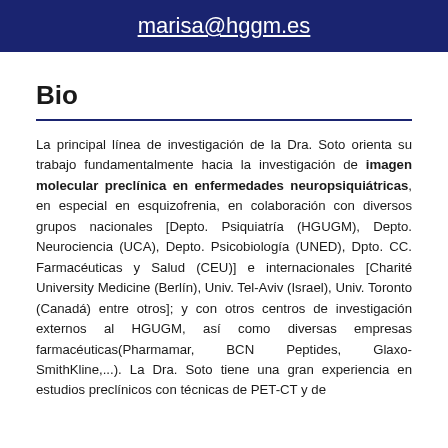marisa@hggm.es
Bio
La principal línea de investigación de la Dra. Soto orienta su trabajo fundamentalmente hacia la investigación de imagen molecular preclínica en enfermedades neuropsiquiátricas, en especial en esquizofrenia, en colaboración con diversos grupos nacionales [Depto. Psiquiatría (HGUGM), Depto. Neurociencia (UCA), Depto. Psicobiología (UNED), Dpto. CC. Farmacéuticas y Salud (CEU)] e internacionales [Charité University Medicine (Berlín), Univ. Tel-Aviv (Israel), Univ. Toronto (Canadá) entre otros]; y con otros centros de investigación externos al HGUGM, así como diversas empresas farmacéuticas(Pharmamar, BCN Peptides, Glaxo-SmithKline,...). La Dra. Soto tiene una gran experiencia en estudios preclínicos con técnicas de PET-CT y de